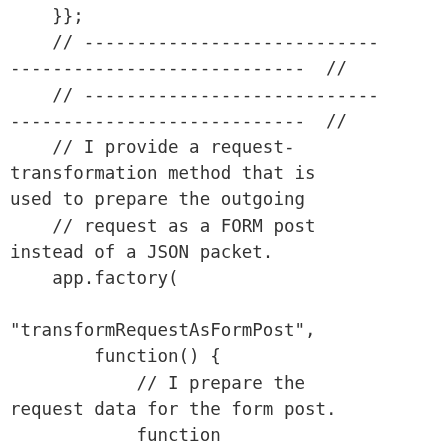};
    // ----------------------------
----------------------------  //
    // ----------------------------
----------------------------  //
    // I provide a request-transformation method that is
used to prepare the outgoing
    // request as a FORM post instead of a JSON packet.
    app.factory(

"transformRequestAsFormPost",
        function() {
            // I prepare the request data for the form post.
            function